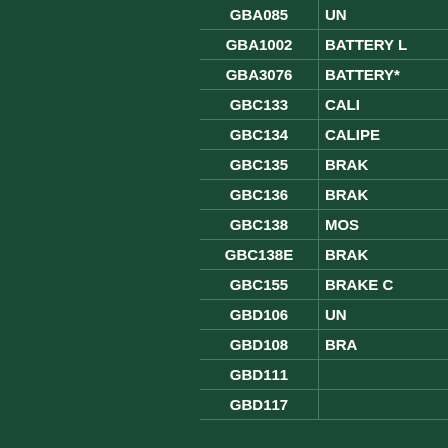| Part Number | Description |
| --- | --- |
| GBA085 | UN |
| GBA1002 | BATTERY L |
| GBA3076 | BATTERY* |
| GBC133 | CALI |
| GBC134 | CALIPE |
| GBC135 | BRAK |
| GBC136 | BRAK |
| GBC138 | MOS |
| GBC138E | BRAK |
| GBC155 | BRAKE C |
| GBD106 | UN |
| GBD108 | BRA |
| GBD111 |  |
| GBD117 |  |